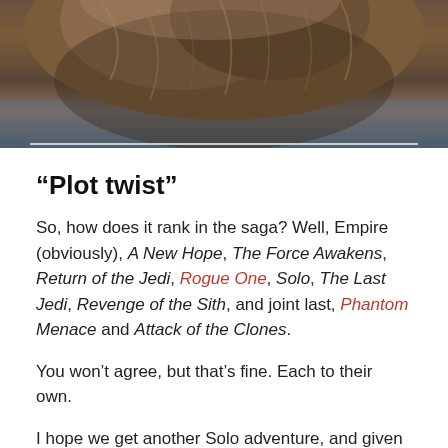[Figure (photo): Close-up photo of a furry creature (Chewbacca) against a dark outdoor background with water/sky visible]
“Plot twist”
So, how does it rank in the saga? Well, Empire (obviously), A New Hope, The Force Awakens, Return of the Jedi, Rogue One, Solo, The Last Jedi, Revenge of the Sith, and joint last, Phantom Menace and Attack of the Clones.
You won’t agree, but that’s fine. Each to their own.
I hope we get another Solo adventure, and given a certain plot twist, there’s every chance we will.